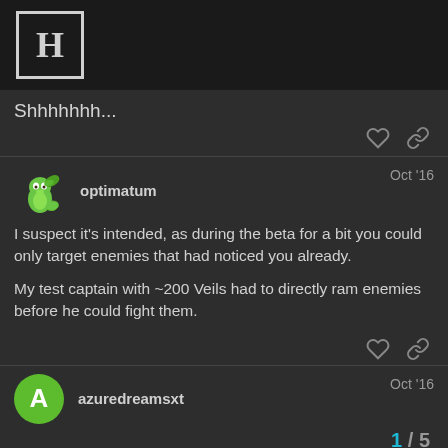H (logo/header bar)
Shhhhhhh...
optimatum — Oct '16
I suspect it's intended, as during the beta for a bit you could only target enemies that had noticed you already.

My test captain with ~200 Veils had to directly ram enemies before he could fight them.
azuredreamsxt — Oct '16
1 / 5